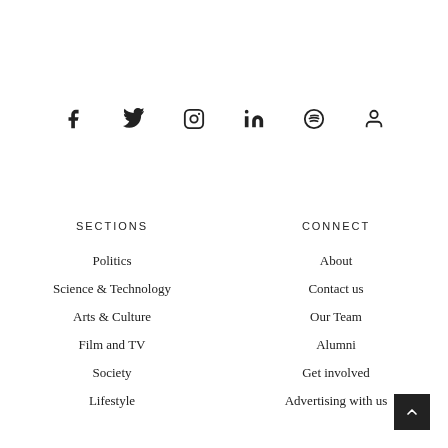[Figure (other): Social media icons row: Facebook, Twitter, Instagram, LinkedIn, Spotify, User/Account icon]
SECTIONS
CONNECT
Politics
About
Science & Technology
Contact us
Arts & Culture
Our Team
Film and TV
Alumni
Society
Get involved
Lifestyle
Advertising with us